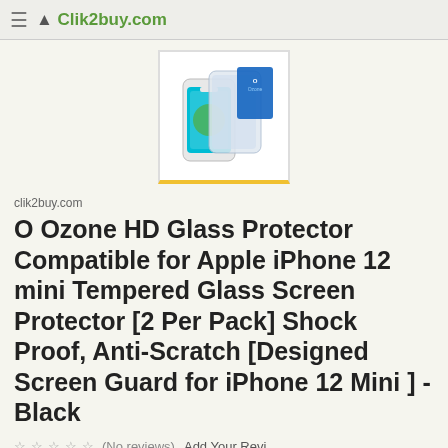Clik2buy.com
[Figure (photo): Product image of O Ozone HD Glass Screen Protector pack for iPhone 12 mini, showing tempered glass protectors and packaging]
clik2buy.com
O Ozone HD Glass Protector Compatible for Apple iPhone 12 mini Tempered Glass Screen Protector [2 Per Pack] Shock Proof, Anti-Scratch [Designed Screen Guard for iPhone 12 Mini ] - Black
☆ ☆ ☆ ☆ ☆ (No reviews) Add Your Review
f Share
Chat with us